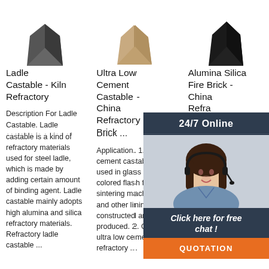[Figure (photo): Three refractory product shapes at top: dark grey wedge/block, beige/tan wedge, dark black wedge]
Ladle Castable - Kiln Refractory
Description For Ladle Castable. Ladle castable is a kind of refractory materials used for steel ladle, which is made by adding certain amount of binding agent. Ladle castable mainly adopts high alumina and silica refractory materials. Refractory ladle castable ...
Ultra Low Cement Castable - China Refractory Brick ...
Application. 1. Ultra low cement castable is used in glass kiln, colored flash furnace, sintering machine, ladle and other linings are constructed and produced. 2. Castable ultra low cement refractory ...
Alumina Silica Fire Brick - China Refractory Brick
Description Alumina Silica Fire Brick. Alumina silica fire brick for sale is a kind of AL2O3-SiO2 basic type refractory brick, including several below: Silica brick, means refractory brick with over 93% SiO2 content, is a kind
[Figure (infographic): 24/7 Online chat overlay with woman photo, 'Click here for free chat!' text, and QUOTATION orange button]